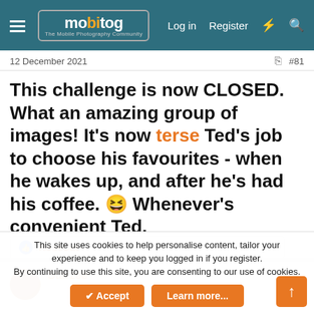mobitog — The Mobile Photography Community | Log in | Register
12 December 2021 | #81
This challenge is now CLOSED. What an amazing group of images! It's now terse Ted's job to choose his favourites - when he wakes up, and after he's had his coffee. 😆 Whenever's convenient Ted.
👍 RoseCat
Starzee
This site uses cookies to help personalise content, tailor your experience and to keep you logged in if you register.
By continuing to use this site, you are consenting to our use of cookies.